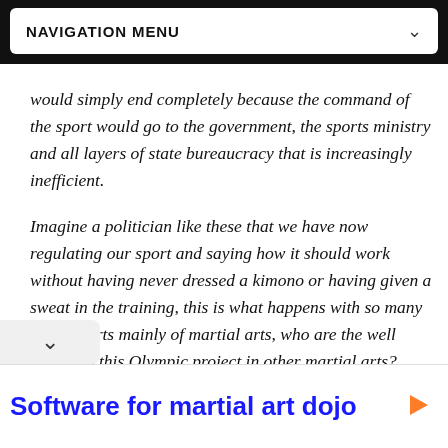NAVIGATION MENU
would simply end completely because the command of the sport would go to the government, the sports ministry and all layers of state bureaucracy that is increasingly inefficient.
Imagine a politician like these that we have now  regulating our sport and saying how it should work without having never dressed a kimono or having given a sweat in the training, this is what happens with so many other sports mainly of martial arts, who are the well people in this Olympic project in other martial arts? which academies will survive this process of nationalization of the sport?
Software for martial art dojo